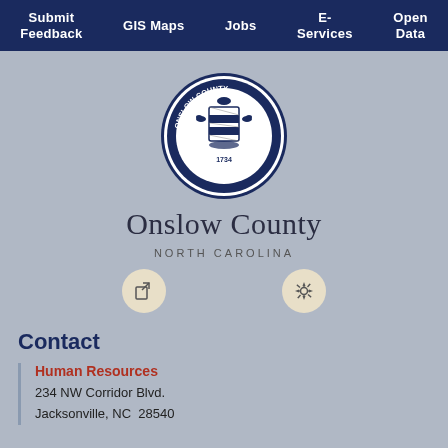Submit Feedback | GIS Maps | Jobs | E-Services | Open Data
[Figure (logo): Onslow County North Carolina official seal, circular blue badge with coat of arms, birds, shield, and '1734' inscription]
Onslow County
NORTH CAROLINA
[Figure (illustration): Two circular icon buttons: a share icon (arrow exiting a box) and a settings/gear icon]
Contact
Human Resources
234 NW Corridor Blvd.
Jacksonville, NC  28540